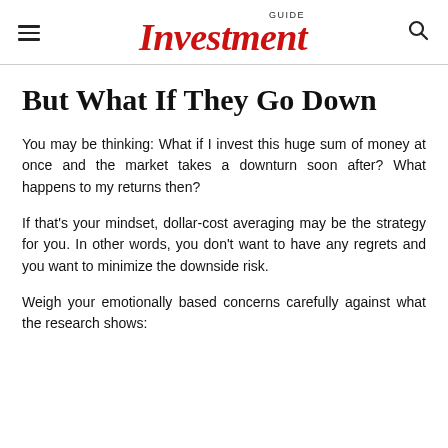GUIDE Investment
But What If They Go Down
You may be thinking: What if I invest this huge sum of money at once and the market takes a downturn soon after? What happens to my returns then?
If that's your mindset, dollar-cost averaging may be the strategy for you. In other words, you don't want to have any regrets and you want to minimize the downside risk.
Weigh your emotionally based concerns carefully against what the research shows: